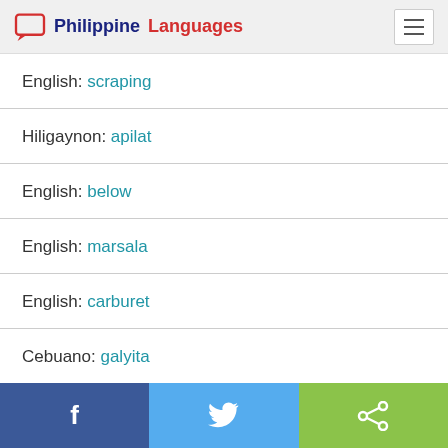Philippine Languages
English: scraping
Hiligaynon: apilat
English: below
English: marsala
English: carburet
Cebuano: galyita
Facebook | Twitter | Share